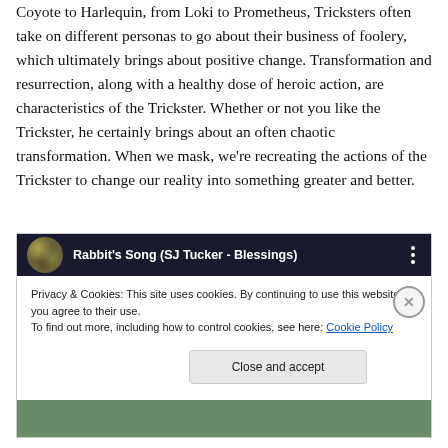Coyote to Harlequin, from Loki to Prometheus, Tricksters often take on different personas to go about their business of foolery, which ultimately brings about positive change. Transformation and resurrection, along with a healthy dose of heroic action, are characteristics of the Trickster. Whether or not you like the Trickster, he certainly brings about an often chaotic transformation. When we mask, we're recreating the actions of the Trickster to change our reality into something greater and better.
[Figure (screenshot): Screenshot of a video embed titled 'Rabbit's Song (SJ Tucker - Blessings)' with a dark green background, a circular thumbnail on the left, a three-dot menu icon on the right, and a cookie consent banner below reading 'Privacy & Cookies: This site uses cookies. By continuing to use this website, you agree to their use. To find out more, including how to control cookies, see here: Cookie Policy' with a 'Close and accept' button.]